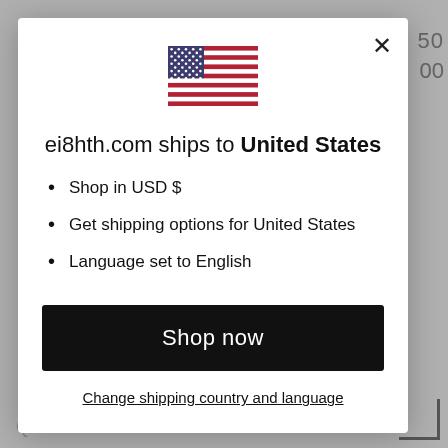[Figure (illustration): US flag emoji/icon displayed at top center of modal dialog]
ei8hth.com ships to United States
Shop in USD $
Get shipping options for United States
Language set to English
Shop now
Change shipping country and language